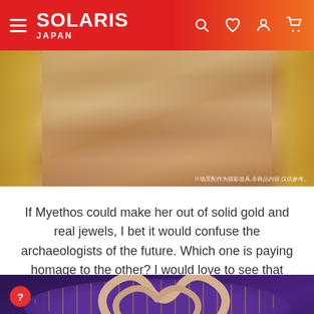SOLARIS JAPAN
[Figure (photo): Close-up of an anime/game figurine with golden hair and golden ornamental accessories, with Chinese watermark text at bottom right.]
If Myethos could make her out of solid gold and real jewels, I bet it would confuse the archaeologists of the future. Which one is paying homage to the other? I would love to see that happen! ψ(`▽´)ψ
[Figure (photo): Close-up of a purple and gold ornamental base of an anime figurine, with swirling cream-colored hair decorations visible at the top.]